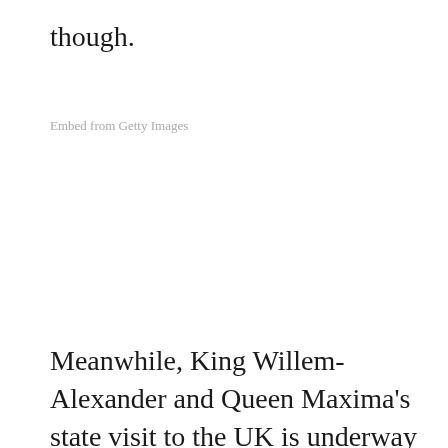though.
Embed from Getty Images
Meanwhile, King Willem-Alexander and Queen Maxima's state visit to the UK is underway and now